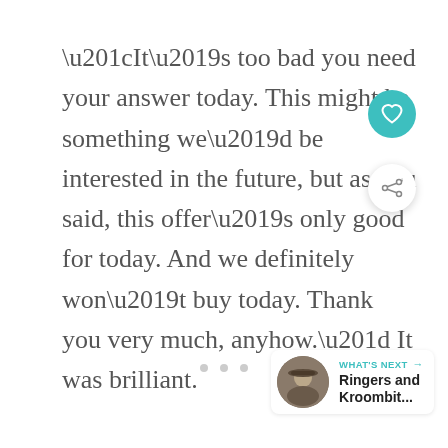“It’s too bad you need your answer today. This might be something we’d be interested in the future, but as you said, this offer’s only good for today. And we definitely won’t buy today. Thank you very much, anyhow.” It was brilliant.
[Figure (other): Teal circular heart/like button and white circular share button floating on the right side of the page]
[Figure (other): Three grey dots indicating pagination at the bottom center]
[Figure (other): "WHAT'S NEXT" card with circular thumbnail photo of a person in a hat, text reading 'Ringers and Kroombit...']